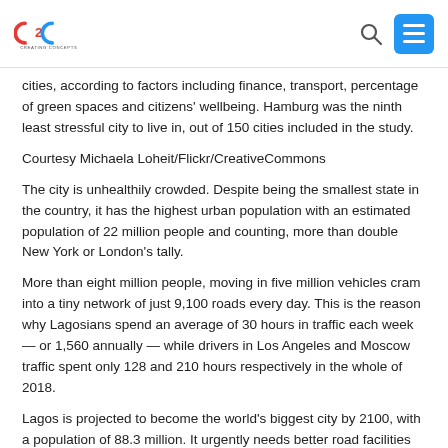C2C Creating Concepts [logo] [search icon] [menu button]
cities, according to factors including finance, transport, percentage of green spaces and citizens' wellbeing. Hamburg was the ninth least stressful city to live in, out of 150 cities included in the study.
Courtesy Michaela Loheit/Flickr/CreativeCommons
The city is unhealthily crowded. Despite being the smallest state in the country, it has the highest urban population with an estimated population of 22 million people and counting, more than double New York or London's tally.
More than eight million people, moving in five million vehicles cram into a tiny network of just 9,100 roads every day. This is the reason why Lagosians spend an average of 30 hours in traffic each week — or 1,560 annually — while drivers in Los Angeles and Moscow traffic spent only 128 and 210 hours respectively in the whole of 2018.
Lagos is projected to become the world's biggest city by 2100, with a population of 88.3 million. It urgently needs better road facilities